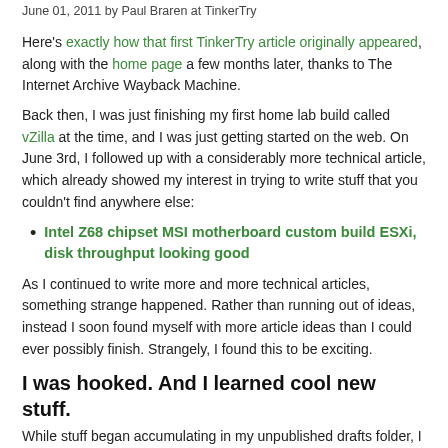June 01, 2011 by Paul Braren at TinkerTry
Here's exactly how that first TinkerTry article originally appeared, along with the home page a few months later, thanks to The Internet Archive Wayback Machine.
Back then, I was just finishing my first home lab build called vZilla at the time, and I was just getting started on the web. On June 3rd, I followed up with a considerably more technical article, which already showed my interest in trying to write stuff that you couldn't find anywhere else:
Intel Z68 chipset MSI motherboard custom build ESXi, disk throughput looking good
As I continued to write more and more technical articles, something strange happened. Rather than running out of ideas, instead I soon found myself with more article ideas than I could ever possibly finish. Strangely, I found this to be exciting.
I was hooked. And I learned cool new stuff.
While stuff began accumulating in my unpublished drafts folder, I